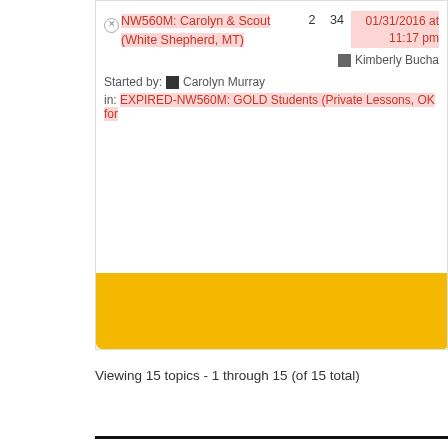[Figure (screenshot): Forum topic row showing 'NW560M: Carolyn & Scout (White Shepherd, MT)' with highlighted pink background, counts 2 and 34, date 01/31/2016 at 11:17 pm, started by Carolyn Murray, in EXPIRED-NW560M: GOLD Students (Private Lessons, OK for...), last poster Kimberly Bucha...]
Viewing 15 topics - 1 through 15 (of 15 total)
My Account
My Account Dashboard